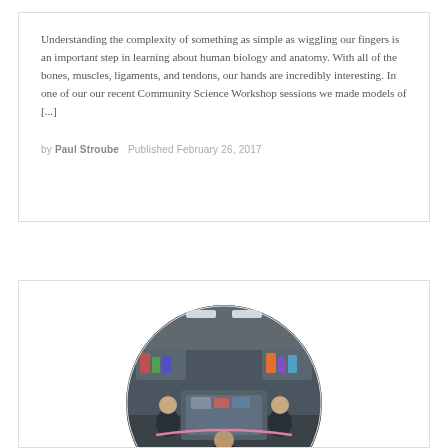Understanding the complexity of something as simple as wiggling our fingers is an important step in learning about human biology and anatomy.  With all of the bones, muscles, ligaments, and tendons, our hands are incredibly interesting.  In one of our our recent Community Science Workshop sessions we made models of [...]
by Paul Stroube   Published February 26, 2017
[Figure (photo): Circular cropped photo of children sitting around a table in a classroom or science workshop setting. The image shows students working together, with science equipment and colorful items visible in the background.]